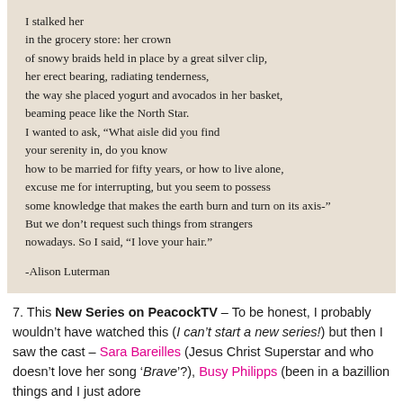[Figure (illustration): Image of a printed poem on cream/beige paper. The poem text reads: 'I stalked her / in the grocery store: her crown / of snowy braids held in place by a great silver clip, / her erect bearing, radiating tenderness, / the way she placed yogurt and avocados in her basket, / beaming peace like the North Star. / I wanted to ask, “What aisle did you find / your serenity in, do you know / how to be married for fifty years, or how to live alone, / excuse me for interrupting, but you seem to possess / some knowledge that makes the earth burn and turn on its axis-” / But we don’t request such things from strangers / nowadays. So I said, “I love your hair.” / -Alison Luterman']
7. This New Series on PeacockTV – To be honest, I probably wouldn’t have watched this (I can’t start a new series!) but then I saw the cast – Sara Bareilles (Jesus Christ Superstar and who doesn’t love her song ‘Brave’?), Busy Philipps (been in a bazillion things and I just adore